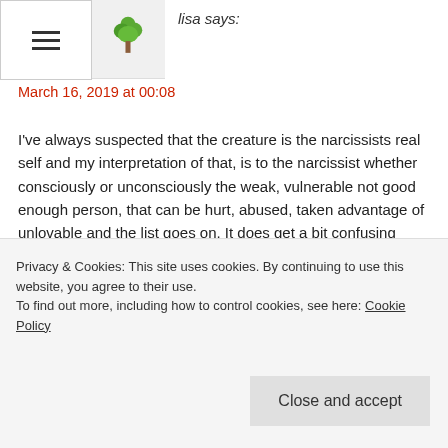lisa says:
March 16, 2019 at 00:08
I've always suspected that the creature is the narcissists real self and my interpretation of that, is to the narcissist whether consciously or unconsciously the weak, vulnerable not good enough person, that can be hurt, abused, taken advantage of unlovable and the list goes on. It does get a bit confusing though because what is the real narcissist, as we know behind the facade there is an individual lacking in empathy supposedly although i'm not entirely sure that's the whole picture of what does or doesn't make someone a narcissist, as I would argue other disorders also lack empathy. Anyway,
Privacy & Cookies: This site uses cookies. By continuing to use this website, you agree to their use.
To find out more, including how to control cookies, see here: Cookie Policy
Close and accept